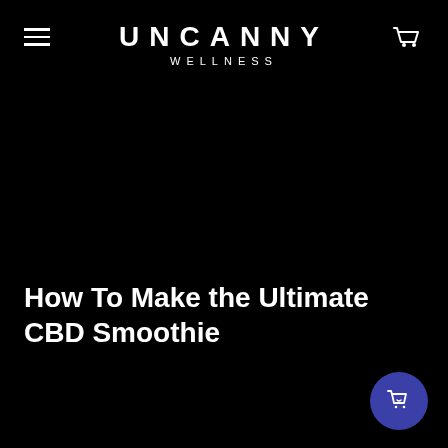UNCANNY WELLNESS
How To Make the Ultimate CBD Smoothie